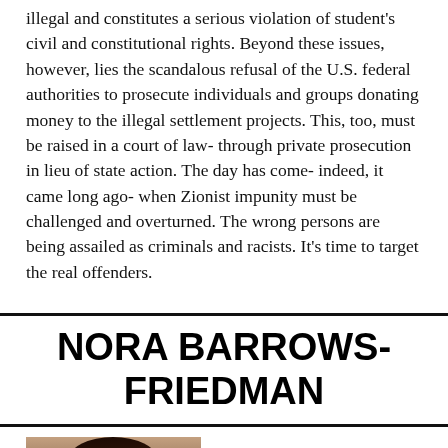illegal and constitutes a serious violation of student's civil and constitutional rights. Beyond these issues, however, lies the scandalous refusal of the U.S. federal authorities to prosecute individuals and groups donating money to the illegal settlement projects. This, too, must be raised in a court of law- through private prosecution in lieu of state action. The day has come- indeed, it came long ago- when Zionist impunity must be challenged and overturned. The wrong persons are being assailed as criminals and racists. It's time to target the real offenders.
NORA BARROWS-FRIEDMAN
[Figure (photo): Portrait photo of Nora Barrows-Friedman, a woman with long dark brown hair]